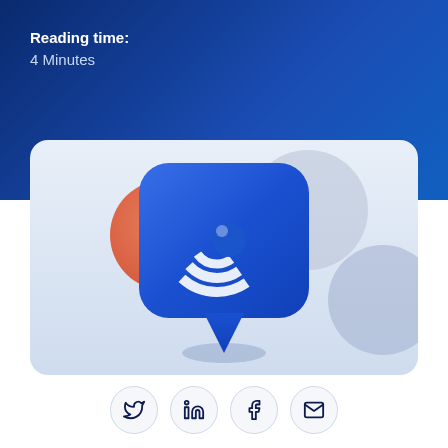Reading time:
4 Minutes
[Figure (illustration): 3D blue speech bubble icon with a white circular logo inside, set against a light blue card background with orange and gray decorative circles]
[Figure (infographic): Social sharing icons: Twitter (bird), LinkedIn (in), Facebook (f), Email (envelope) in circular outlined buttons]